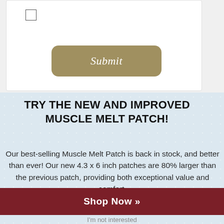[Figure (screenshot): Top portion of a web form showing a checkbox and a tan/gold rounded Submit button on a white card over a light gray background]
TRY THE NEW AND IMPROVED MUSCLE MELT PATCH!
Our best-selling Muscle Melt Patch is back in stock, and better than ever! Our new 4.3 x 6 inch patches are 80% larger than the previous patch, providing both exceptional value and comfort.
Shop Now »
I'm not interested